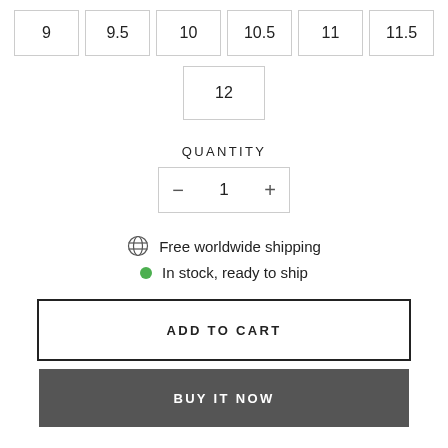| 9 | 9.5 | 10 | 10.5 | 11 | 11.5 |
| --- | --- | --- | --- | --- | --- |
| 12 |
| --- |
QUANTITY
- 1 +
Free worldwide shipping
In stock, ready to ship
ADD TO CART
BUY IT NOW
Size Chart